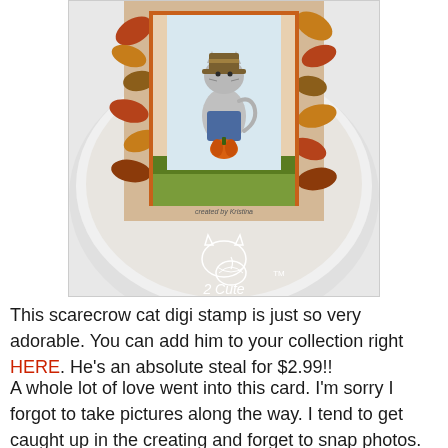[Figure (photo): Photo of a handmade autumn-themed card featuring a scarecrow cat stamp with pumpkin and fall leaves, displayed on a white plate. A '2 Cute' watermark logo (cat with yarn) overlays the bottom portion. Text 'created by Kristina' visible on card.]
This scarecrow cat digi stamp is just so very adorable.  You can add him to your collection right HERE.  He's an absolute steal for $2.99!!
A whole lot of love went into this card.  I'm sorry I forgot to take pictures along the way.  I tend to get caught up in the creating and forget to snap photos.  I'm working on it!  The whole project began by playing with alcohol inks and Yupo paper.  I love just sitting and seeing what I can make the